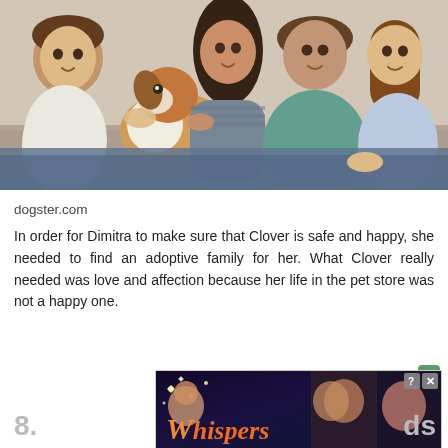[Figure (photo): A family of four (two adults, two children) sitting together on a couch, smiling, holding a small brown and white Jack Russell terrier dog. The father wears a teal shirt, the mother has long dark hair, the boy on the left wears a white shirt, and the girl on the right has long hair and wears a floral dress.]
dogster.com
In order for Dimitra to make sure that Clover is safe and happy, she needed to find an adoptive family for her. What Clover really needed was love and affection because her life in the pet store was not a happy one.
[Figure (screenshot): An advertisement overlay for 'Whispers' mobile app/game featuring romantic imagery with a sparkly logo. Contains a close button with question mark and X icons in the top right corner.]
8.